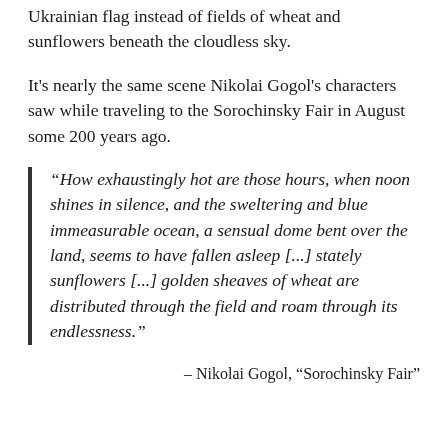Ukrainian flag instead of fields of wheat and sunflowers beneath the cloudless sky.
It's nearly the same scene Nikolai Gogol's characters saw while traveling to the Sorochinsky Fair in August some 200 years ago.
“How exhaustingly hot are those hours, when noon shines in silence, and the sweltering and blue immeasurable ocean, a sensual dome bent over the land, seems to have fallen asleep [...] stately sunflowers [...] golden sheaves of wheat are distributed through the field and roam through its endlessness.”
– Nikolai Gogol, “Sorochinsky Fair”